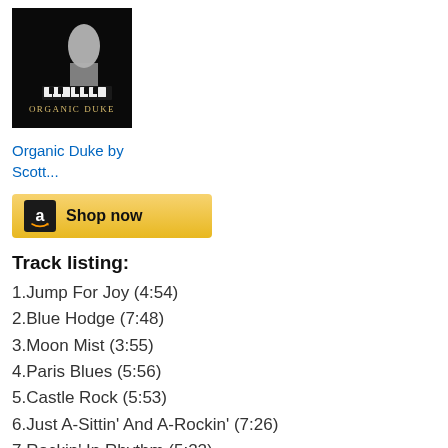[Figure (photo): Album cover for Organic Duke by Scott, dark background with a pianist silhouette and text 'Organic Duke']
Organic Duke by Scott...
[Figure (other): Amazon 'Shop now' button with Amazon logo]
Track listing:
1.Jump For Joy (4:54)
2.Blue Hodge (7:48)
3.Moon Mist (3:55)
4.Paris Blues (5:56)
5.Castle Rock (5:53)
6.Just A-Sittin' And A-Rockin' (7:26)
7.Rockin' In Rhythm (5:22)
8.Isfahan (4:09)
9.Love You Madly (6:59)
10.The Old Circus Train Turn Around Blues (5:19)